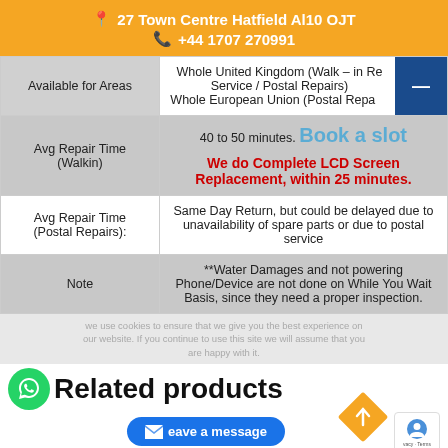📍 27 Town Centre Hatfield Al10 OJT
📞 +44 1707 270991
|  |  |
| --- | --- |
| Available for Areas | Whole United Kingdom (Walk – in Repair Service / Postal Repairs)
Whole European Union (Postal Repairs) |
| Avg Repair Time (Walkin) | 40 to 50 minutes. Book a slot

We do Complete LCD Screen Replacement, within 25 minutes. |
| Avg Repair Time (Postal Repairs): | Same Day Return, but could be delayed due to unavailability of spare parts or due to postal service |
| Note | **Water Damages and not powering Phone/Device are not done on While You Wait Basis, since they need a proper inspection. |
We use cookies to ensure that we give you the best experience on our website. If you continue to use this site we will assume that you are happy with it.
Related products